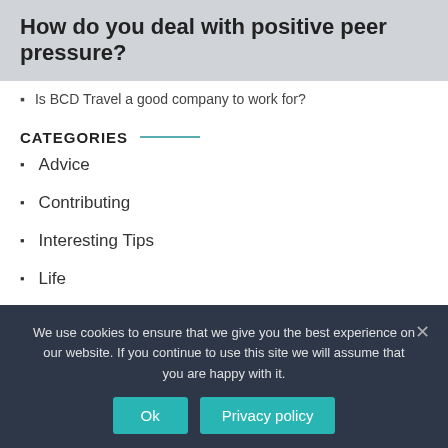How do you deal with positive peer pressure?
Is BCD Travel a good company to work for?
CATEGORIES
Advice
Contributing
Interesting Tips
Life
Mixed
We use cookies to ensure that we give you the best experience on our website. If you continue to use this site we will assume that you are happy with it.